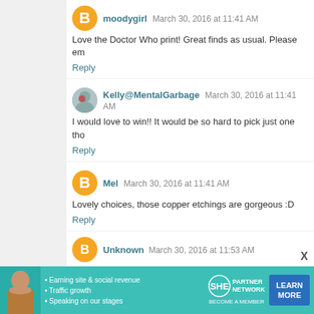moodygirl March 30, 2016 at 11:41 AM
Love the Doctor Who print! Great finds as usual. Please em
Reply
Kelly@MentalGarbage March 30, 2016 at 11:41 AM
I would love to win!! It would be so hard to pick just one tho
Reply
Mel March 30, 2016 at 11:41 AM
Lovely choices, those copper etchings are gorgeous :D
Reply
Jessica Layman March 30, 2016 at 11:47 AM
I would love the Wam-PAL or the Wedge on the Ledge!
Reply
Unknown March 30, 2016 at 11:53 AM
[Figure (infographic): SHE Partner Network advertisement banner with woman photo, bullet points about earning site & social revenue, traffic growth, speaking on stages, SHE logo, and LEARN MORE button]